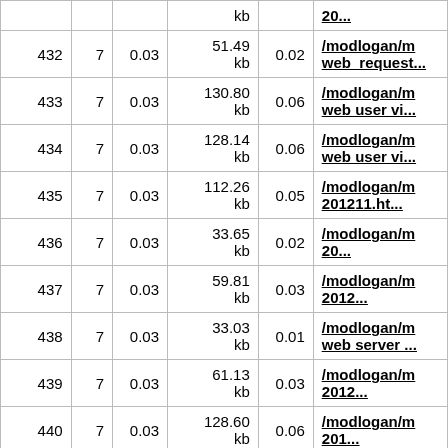| # | ? | ? | Size | ? | Path |
| --- | --- | --- | --- | --- | --- |
|  |  |  | kb |  | 20... |
| 432 | 7 | 0.03 | 51.49 kb | 0.02 | /modlogan/m web_request... |
| 433 | 7 | 0.03 | 130.80 kb | 0.06 | /modlogan/m web user vi... |
| 434 | 7 | 0.03 | 128.14 kb | 0.06 | /modlogan/m web user vi... |
| 435 | 7 | 0.03 | 112.26 kb | 0.05 | /modlogan/m 201211.ht... |
| 436 | 7 | 0.03 | 33.65 kb | 0.02 | /modlogan/m 20... |
| 437 | 7 | 0.03 | 59.81 kb | 0.03 | /modlogan/m 2012... |
| 438 | 7 | 0.03 | 33.03 kb | 0.01 | /modlogan/m web server ... |
| 439 | 7 | 0.03 | 61.13 kb | 0.03 | /modlogan/m 2012... |
| 440 | 7 | 0.03 | 128.60 kb | 0.06 | /modlogan/m 201... |
| 441 | 7 | 0.03 | 2.10 Mb | 0.97 | /modlogan/m 201210.... |
| 442 | 7 | 0.03 | 46.64 | 0.02 | /modlogan/m |